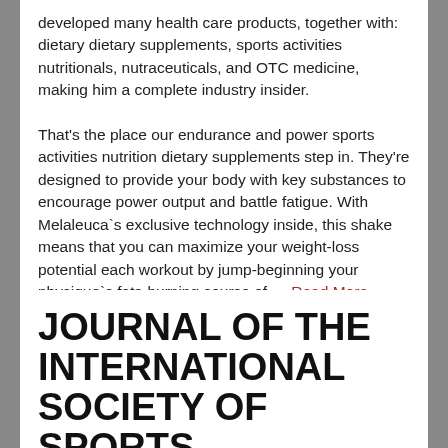developed many health care products, together with: dietary dietary supplements, sports activities nutritionals, nutraceuticals, and OTC medicine, making him a complete industry insider.
That's the place our endurance and power sports activities nutrition dietary supplements step in. They're designed to provide your body with key substances to encourage power output and battle fatigue. With Melaleuca`s exclusive technology inside, this shake means that you can maximize your weight-loss potential each workout by jump-beginning your physique`s fats-burning course of…. Read More...
Filed Under: injury_ | Tagged: activities, international, society, sports
JOURNAL OF THE INTERNATIONAL SOCIETY OF SPORTS ACTIVITIES NUTRITION
Posted on August 2, 2018 by Brianna